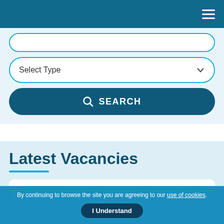Navigation header with hamburger menu
Select Type
SEARCH
Latest Vacancies
PERMANENT
MEP Coordinator
£50,000.00 - £65,000.00 Per Year
By continuing to browse the site you are agreeing to our use of cookies.
I Understand